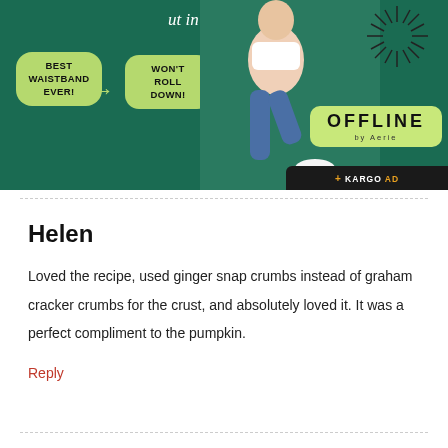[Figure (photo): Advertisement banner for Aerie OFFLINE brand showing a woman in athletic wear sitting on luggage against a dark green background, with badges reading 'BEST WAISTBAND EVER!' and 'WON'T ROLL DOWN!', and the OFFLINE by Aerie logo with KARGO AD label.]
ut in a refrigerator.
Helen
Loved the recipe, used ginger snap crumbs instead of graham cracker crumbs for the crust, and absolutely loved it. It was a perfect compliment to the pumpkin.
Reply